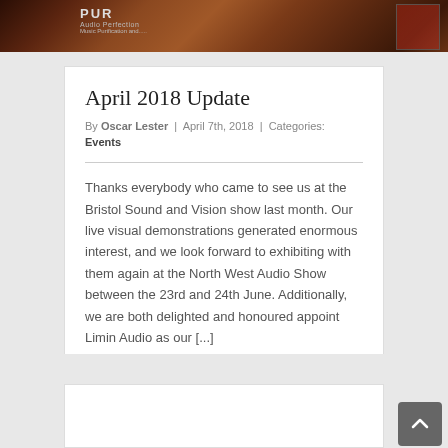[Figure (photo): Top banner image with dark red/brown tones showing what appears to be audio equipment signage, partially visible text including 'PUR'.]
April 2018 Update
By Oscar Lester | April 7th, 2018 | Categories: Events
Thanks everybody who came to see us at the Bristol Sound and Vision show last month. Our live visual demonstrations generated enormous interest, and we look forward to exhibiting with them again at the North West Audio Show between the 23rd and 24th June. Additionally, we are both delighted and honoured appoint Limin Audio as our [...]
Read More  0
[Figure (logo): Partial view of a circular logo with blue arc/ring visible at bottom of page]